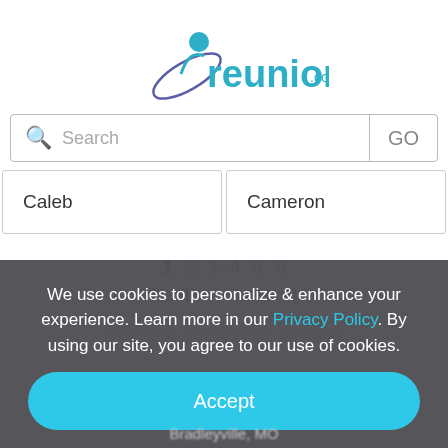[Figure (logo): reunion.com logo with teal text and purple/teal figure graphic]
Search
GO
Caleb
Cameron
1  2  3  4  5  6
Next >   Last >|
We use cookies to personalize & enhance your experience. Learn more in our Privacy Policy. By using our site, you agree to our use of cookies.
Accept
People in Bradleyville, Missouri
Bradleyville, MO